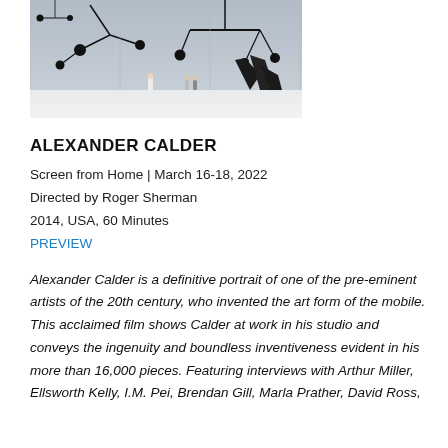[Figure (photo): Museum interior showing large black Calder mobile sculptures hanging from ceiling, with visitors walking beneath them on a white floor, wide windows in background]
ALEXANDER CALDER
Screen from Home | March 16-18, 2022
Directed by Roger Sherman
2014, USA, 60 Minutes
PREVIEW
Alexander Calder is a definitive portrait of one of the pre-eminent artists of the 20th century, who invented the art form of the mobile. This acclaimed film shows Calder at work in his studio and conveys the ingenuity and boundless inventiveness evident in his more than 16,000 pieces. Featuring interviews with Arthur Miller, Ellsworth Kelly, I.M. Pei, Brendan Gill, Marla Prather, David Ross, Calder descendants, and more. Calder Foundation...